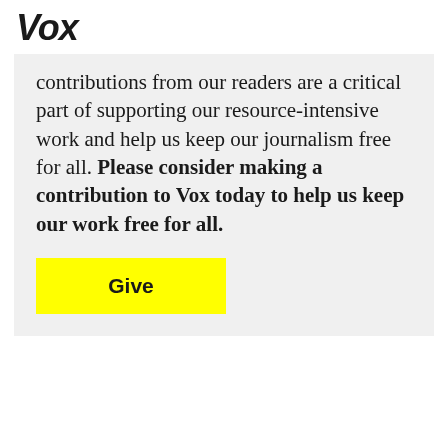Vox
contributions from our readers are a critical part of supporting our resource-intensive work and help us keep our journalism free for all. Please consider making a contribution to Vox today to help us keep our work free for all.
[Figure (other): Yellow 'Give' button]